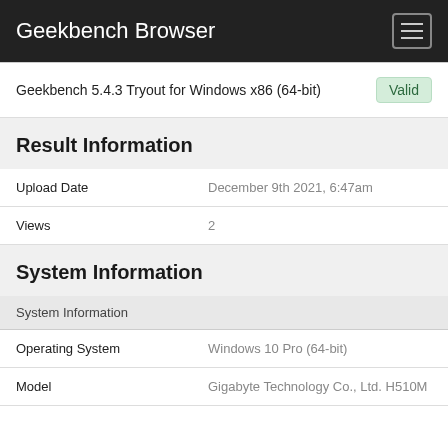Geekbench Browser
Geekbench 5.4.3 Tryout for Windows x86 (64-bit)   Valid
Result Information
| Field | Value |
| --- | --- |
| Upload Date | December 9th 2021, 6:47am |
| Views | 2 |
System Information
| Field | Value |
| --- | --- |
| System Information |  |
| Operating System | Windows 10 Pro (64-bit) |
| Model | Gigabyte Technology Co., Ltd. H510M |